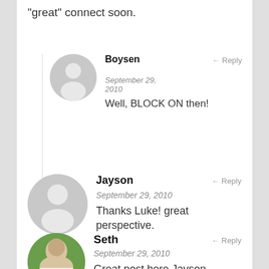"great" connect soon.
Boysen
← Reply
September 29, 2010
Well, BLOCK ON then!
Jayson
← Reply
September 29, 2010
Thanks Luke! great perspective.
Seth
← Reply
September 29, 2010
Great post here Jayson.